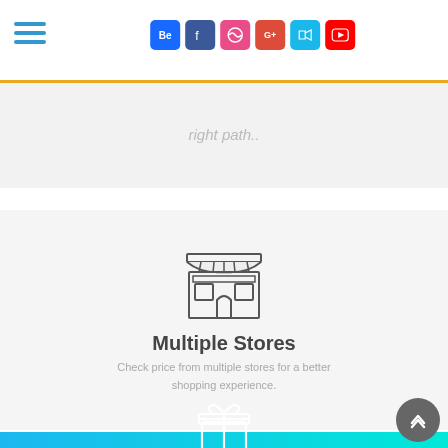Social icons: Behance, Facebook, Dribbble, Google+, Vine, YouTube
right path..
[Figure (illustration): Line icon of a market/store building with awning, windows, and a door]
Multiple Stores
Check price from multiple stores for a better shopping experience.
[Figure (illustration): White outline gift box icon on gradient blue/cyan background]
Enjoy Result